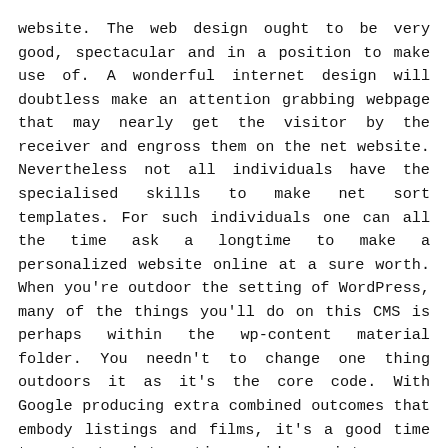website. The web design ought to be very good, spectacular and in a position to make use of. A wonderful internet design will doubtless make an attention grabbing webpage that may nearly get the visitor by the receiver and engross them on the net website. Nevertheless not all individuals have the specialised skills to make net sort templates. For such individuals one can all the time ask a longtime to make a personalized website online at a sure worth. When you're outdoor the setting of WordPress, many of the things you'll do on this CMS is perhaps within the wp-content material folder. You needn't to change one thing outdoors it as it's the core code. With Google producing extra combined outcomes that embody listings and films, it's a good time to start integrating videos into your advertising and advertising and marketing plan. It offers you an opportunity to have interaction new leads and obtain extra publicity on your enterprise.
These security templates are principally created by